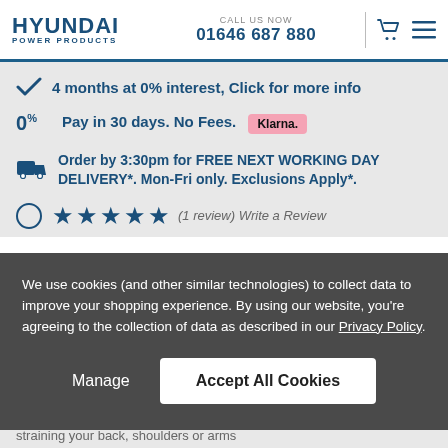HYUNDAI POWER PRODUCTS | CALL US NOW 01646 687 880
4 months at 0% interest, Click for more info
0%* Pay in 30 days. No Fees. Klarna.
Order by 3:30pm for FREE NEXT WORKING DAY DELIVERY*. Mon-Fri only. Exclusions Apply*.
★★★★★ (1 review) Write a Review
We use cookies (and other similar technologies) to collect data to improve your shopping experience. By using our website, you're agreeing to the collection of data as described in our Privacy Policy.
Manage | Accept All Cookies
straining your back, shoulders or arms